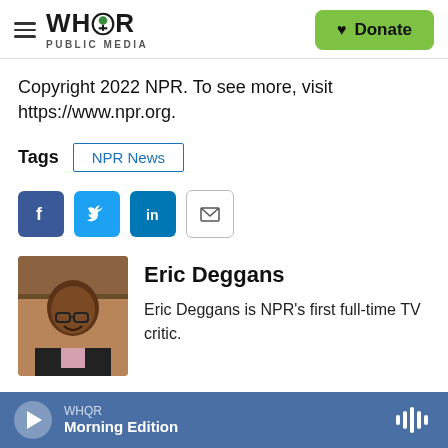WHQR PUBLIC MEDIA — Donate
Copyright 2022 NPR. To see more, visit https://www.npr.org.
Tags  NPR News
[Figure (infographic): Social sharing buttons: Facebook, Twitter, LinkedIn, Email]
[Figure (photo): Photo of Eric Deggans]
Eric Deggans
Eric Deggans is NPR's first full-time TV critic.
WHQR  Morning Edition